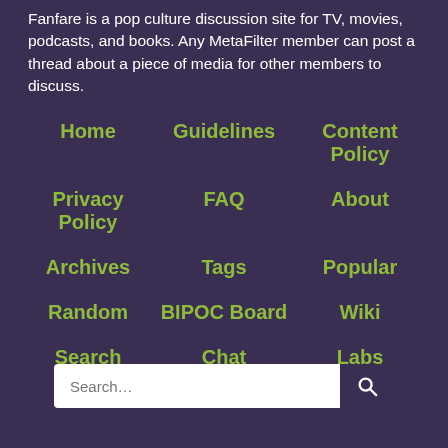Fanfare is a pop culture discussion site for TV, movies, podcasts, and books. Any MetaFilter member can post a thread about a piece of media for other members to discuss.
Home
Guidelines
Content Policy
Privacy Policy
FAQ
About
Archives
Tags
Popular
Random
BIPOC Board
Wiki
Search
Chat
Labs